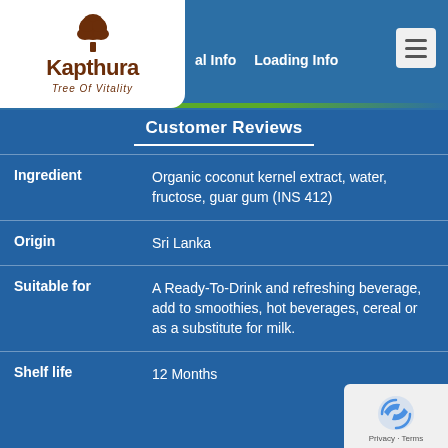Kapthura Tree Of Vitality | al Info | Loading Info
Customer Reviews
| Field | Value |
| --- | --- |
| Ingredient | Organic coconut kernel extract, water, fructose, guar gum (INS 412) |
| Origin | Sri Lanka |
| Suitable for | A Ready-To-Drink and refreshing beverage, add to smoothies, hot beverages, cereal or as a substitute for milk. |
| Shelf life | 12 Months |